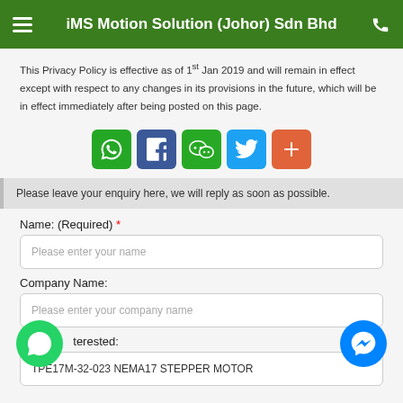iMS Motion Solution (Johor) Sdn Bhd
This Privacy Policy is effective as of 1st Jan 2019 and will remain in effect except with respect to any changes in its provisions in the future, which will be in effect immediately after being posted on this page.
[Figure (infographic): Social sharing buttons: WhatsApp (green), Facebook (dark blue), WeChat (green), Twitter (light blue), Add/More (orange-red)]
Please leave your enquiry here, we will reply as soon as possible.
Name: (Required) *
Please enter your name
Company Name:
Please enter your company name
Product Interested:
TPE17M-32-023 NEMA17 STEPPER MOTOR